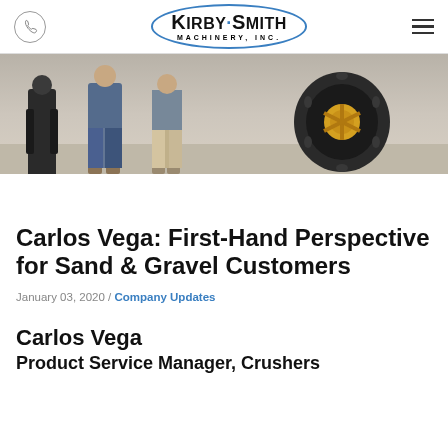Kirby-Smith Machinery, Inc.
[Figure (photo): Three people standing in front of large yellow machinery/tires outdoors on a gravel surface]
Carlos Vega: First-Hand Perspective for Sand & Gravel Customers
January 03, 2020 / Company Updates
Carlos Vega
Product Service Manager, Crushers